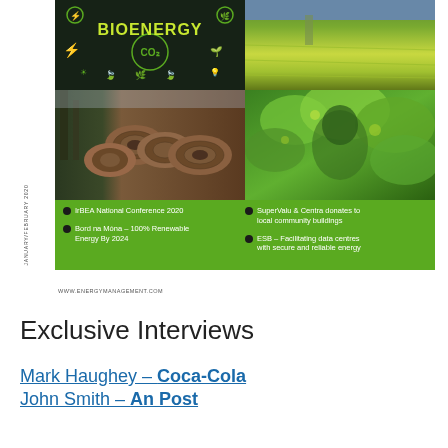[Figure (photo): Magazine cover collage with four images: bioenergy dark panel with text, yellow rapeseed field aerial photo, stacked logs/timber pile with trees, green leaves with human silhouette. Bottom green panel with bullet points listing: IrBEA National Conference 2020, Bord na Móna – 100% Renewable Energy By 2024, SuperValu & Centra donates to local community buildings, ESB – Facilitating data centres with secure and reliable energy. Side label: JANUARY/FEBRUARY 2020. Website: www.energymanagement.com]
Exclusive Interviews
Mark Haughey – Coca-Cola
John Smith – An Post